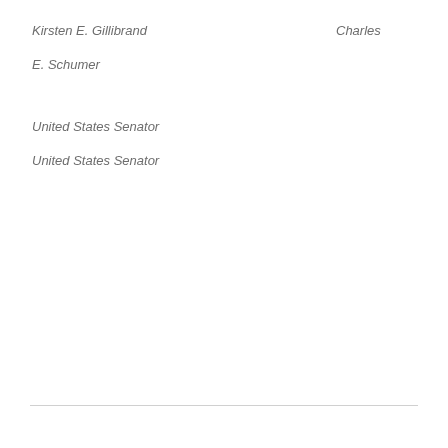Kirsten E. Gillibrand
Charles
E. Schumer
United States Senator
United States Senator